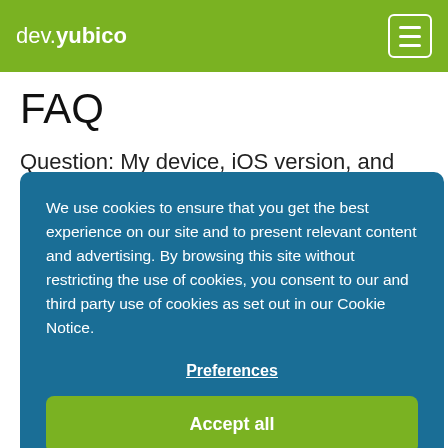dev.yubico
FAQ
Question: My device, iOS version, and YubiKey support WebAuthn(FIDO2) but the key is not responding to my touch.
We use cookies to ensure that you get the best experience on our site and to present relevant content and advertising. By browsing this site without restricting the use of cookies, you consent to our and third party use of cookies as set out in our Cookie Notice.
Preferences
Accept all
Kit for WebAuthn now in a native app: